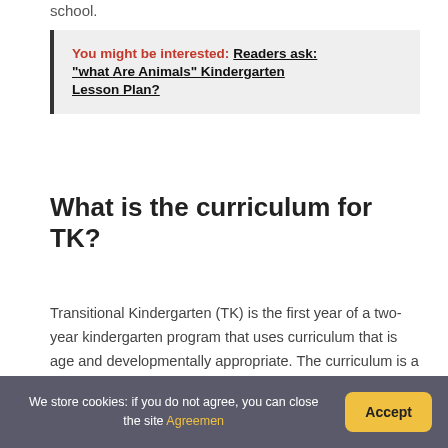school.
You might be interested:  Readers ask: "what Are Animals" Kindergarten Lesson Plan?
What is the curriculum for TK?
Transitional Kindergarten (TK) is the first year of a two-year kindergarten program that uses curriculum that is age and developmentally appropriate. The curriculum is a blend of the Kindergarten California Standards and the...
We store cookies: if you do not agree, you can close the site Agreemen  Accept